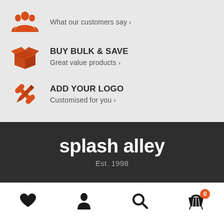TESTIMONIALS - What our customers say
BUY BULK & SAVE - Great value products
ADD YOUR LOGO - Customised for you
[Figure (logo): splash alley brand logo with Est. 1998]
[Figure (infographic): Bottom navigation bar with heart, person, search, and cart icons. Cart has badge showing 0.]